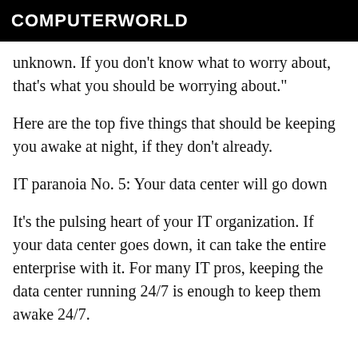COMPUTERWORLD
unknown. If you don't know what to worry about, that's what you should be worrying about."
Here are the top five things that should be keeping you awake at night, if they don't already.
IT paranoia No. 5: Your data center will go down
It's the pulsing heart of your IT organization. If your data center goes down, it can take the entire enterprise with it. For many IT pros, keeping the data center running 24/7 is enough to keep them awake 24/7.